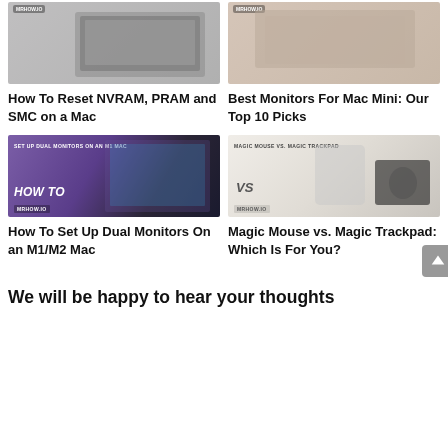[Figure (screenshot): Thumbnail image for 'How To Reset NVRAM, PRAM and SMC on a Mac' article with MRHOW.IO branding]
[Figure (screenshot): Thumbnail image for 'Best Monitors For Mac Mini: Our Top 10 Picks' article with MRHOW.IO branding]
How To Reset NVRAM, PRAM and SMC on a Mac
Best Monitors For Mac Mini: Our Top 10 Picks
[Figure (screenshot): Thumbnail for 'How To Set Up Dual Monitors On an M1/M2 Mac' showing 'SET UP DUAL MONITORS ON AN M1 MAC' text and 'HOW TO' in italic bold, MRHOW.IO branding]
[Figure (screenshot): Thumbnail for 'Magic Mouse vs. Magic Trackpad: Which Is For You?' showing 'MAGIC MOUSE VS. MAGIC TRACKPAD' text, 'VS' and MRHOW.IO branding]
How To Set Up Dual Monitors On an M1/M2 Mac
Magic Mouse vs. Magic Trackpad: Which Is For You?
We will be happy to hear your thoughts